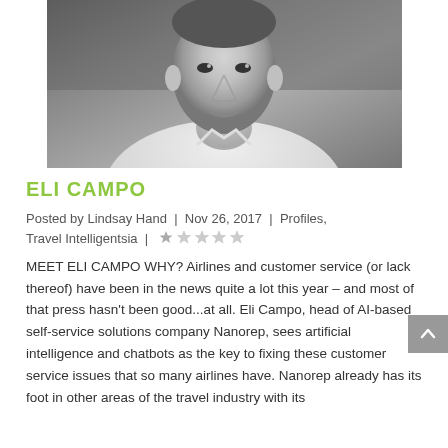[Figure (photo): Black and white headshot portrait of Eli Campo, a middle-aged man in a white shirt against a grey background]
ELI CAMPO
Posted by Lindsay Hand | Nov 26, 2017 | Profiles, Travel Intelligentsia | ★☆☆☆☆
MEET ELI CAMPO WHY? Airlines and customer service (or lack thereof) have been in the news quite a lot this year – and most of that press hasn't been good...at all. Eli Campo, head of AI-based self-service solutions company Nanorep, sees artificial intelligence and chatbots as the key to fixing these customer service issues that so many airlines have. Nanorep already has its foot in other areas of the travel industry with its